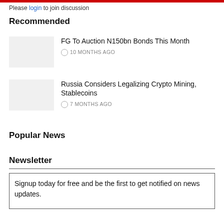Please login to join discussion
Recommended
FG To Auction N150bn Bonds This Month
⊙ 10 MONTHS AGO
Russia Considers Legalizing Crypto Mining, Stablecoins
⊙ 7 MONTHS AGO
Popular News
Newsletter
Signup today for free and be the first to get notified on news updates.